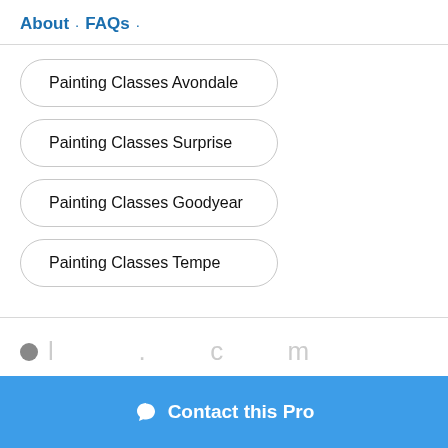About · FAQs ·
Painting Classes Avondale
Painting Classes Surprise
Painting Classes Goodyear
Painting Classes Tempe
Contact this Pro